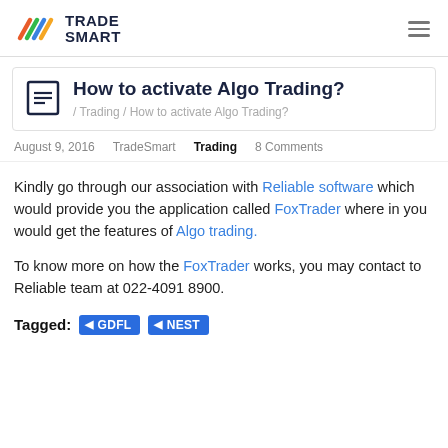TradeSmart
How to activate Algo Trading?
/ Trading / How to activate Algo Trading?
August 9, 2016   TradeSmart   Trading   8 Comments
Kindly go through our association with Reliable software which would provide you the application called FoxTrader where in you would get the features of Algo trading.
To know more on how the FoxTrader works, you may contact to Reliable team at 022-4091 8900.
Tagged: GDFL NEST